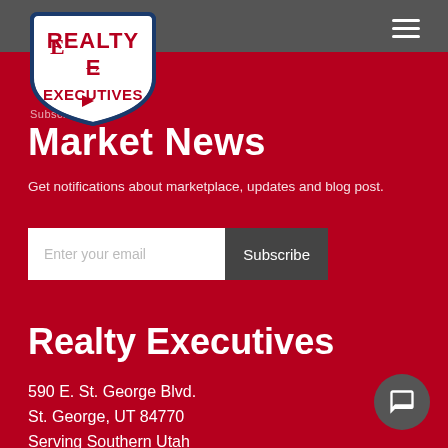[Figure (logo): Realty Executives shield logo with red text on white background]
Subscribe to
Market News
Get notifications about marketplace, updates and blog post.
Enter your email | Subscribe
Realty Executives
590 E. St. George Blvd.
St. George, UT 84770
Serving Southern Utah